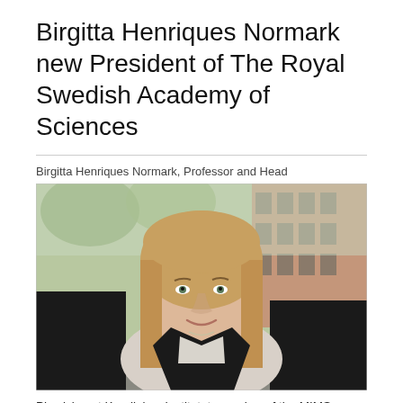Birgitta Henriques Normark new President of The Royal Swedish Academy of Sciences
Birgitta Henriques Normark, Professor and Head
[Figure (photo): Portrait photograph of Birgitta Henriques Normark, a woman with long blonde hair wearing a black jacket, standing outdoors with trees and a brick building in the background.]
Physician at Karolinksa Institutet, member of the MIMS Executive Board, has been elected as the new President